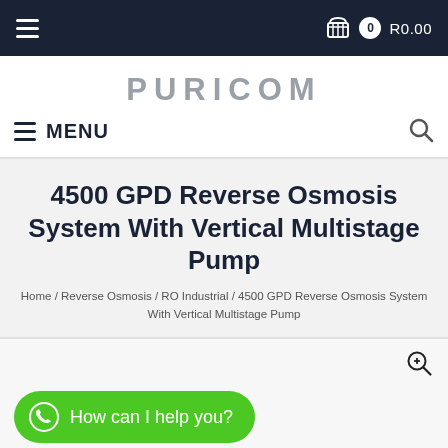≡  🛒 0 R0.00
PURICOM
≡ MENU
4500 GPD Reverse Osmosis System With Vertical Multistage Pump
Home / Reverse Osmosis / RO Industrial / 4500 GPD Reverse Osmosis System With Vertical Multistage Pump
[Figure (screenshot): Product image area with zoom icon and WhatsApp chat button reading 'How can I help you?']